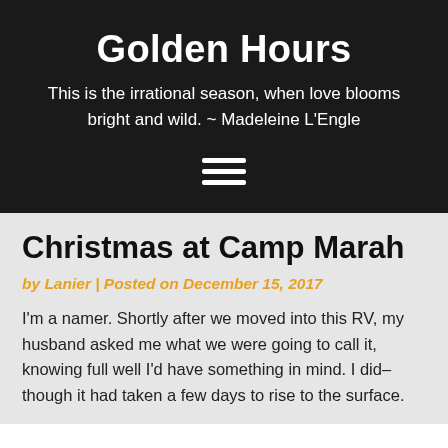Golden Hours
This is the irrational season, when love blooms bright and wild. ~ Madeleine L'Engle
[Figure (other): Hamburger menu icon with three horizontal white lines]
Christmas at Camp Marah
by Lanier | Posted on December 15, 2017
I'm a namer. Shortly after we moved into this RV, my husband asked me what we were going to call it, knowing full well I'd have something in mind. I did–though it had taken a few days to rise to the surface.